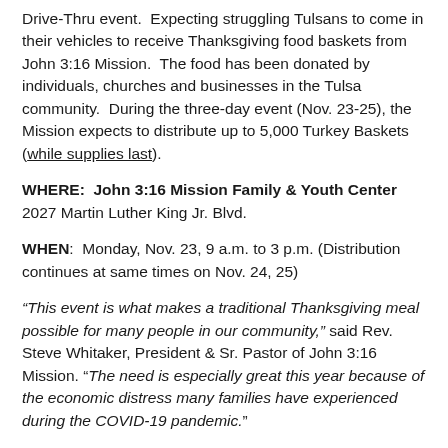Drive-Thru event. Expecting struggling Tulsans to come in their vehicles to receive Thanksgiving food baskets from John 3:16 Mission. The food has been donated by individuals, churches and businesses in the Tulsa community. During the three-day event (Nov. 23-25), the Mission expects to distribute up to 5,000 Turkey Baskets (while supplies last).
WHERE: John 3:16 Mission Family & Youth Center 2027 Martin Luther King Jr. Blvd.
WHEN: Monday, Nov. 23, 9 a.m. to 3 p.m. (Distribution continues at same times on Nov. 24, 25)
“This event is what makes a traditional Thanksgiving meal possible for many people in our community,” said Rev. Steve Whitaker, President & Sr. Pastor of John 3:16 Mission. “The need is especially great this year because of the economic distress many families have experienced during the COVID-19 pandemic.”